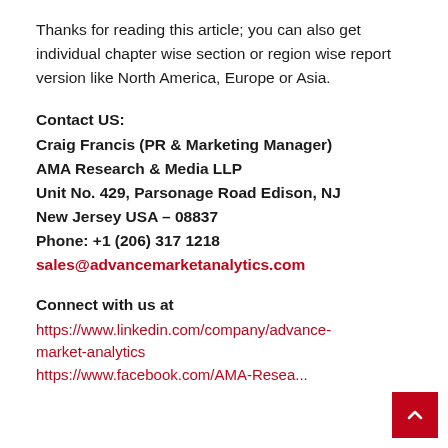Thanks for reading this article; you can also get individual chapter wise section or region wise report version like North America, Europe or Asia.
Contact US:
Craig Francis (PR & Marketing Manager)
AMA Research & Media LLP
Unit No. 429, Parsonage Road Edison, NJ
New Jersey USA – 08837
Phone: +1 (206) 317 1218
sales@advancemarketanalytics.com
Connect with us at
https://www.linkedin.com/company/advance-market-analytics
https://www.facebook.com/AMA-Resea...